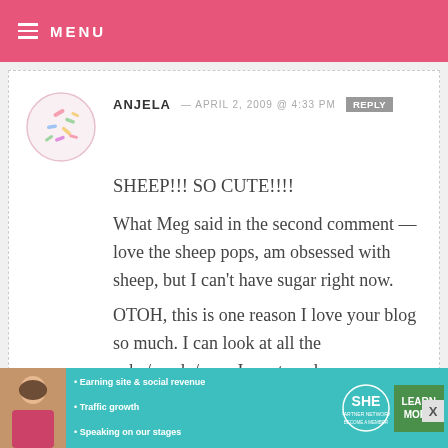MENU
ANJELA — APRIL 2, 2009 @ 4:33 PM  REPLY
SHEEP!!! SO CUTE!!!!
What Meg said in the second comment — love the sheep pops, am obsessed with sheep, but I can't have sugar right now.
OTOH, this is one reason I love your blog so much. I can look at all the cake/candy/pops I want, and yours are
[Figure (illustration): Circular avatar icon with small colorful sprinkles/confetti pattern on light pink background]
• Earning site & social revenue  • Traffic growth  • Speaking on our stages  SHE PARTNER NETWORK BECOME A MEMBER  LEARN MORE